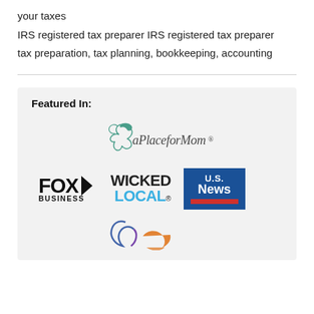your taxes
IRS registered tax preparer IRS registered tax preparer
tax preparation, tax planning, bookkeeping, accounting
Featured In:
[Figure (logo): aPlaceforMom logo with bird icon]
[Figure (logo): Fox Business logo]
[Figure (logo): Wicked Local logo]
[Figure (logo): US News logo]
[Figure (logo): Partial third-row logo with checkmark and orange shape]